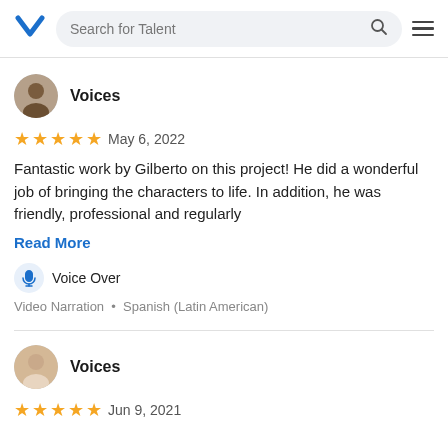Search for Talent
Voices
★★★★★  May 6, 2022
Fantastic work by Gilberto on this project! He did a wonderful job of bringing the characters to life. In addition, he was friendly, professional and regularly
Read More
Voice Over
Video Narration • Spanish (Latin American)
Voices
★★★★★  Jun 9, 2021